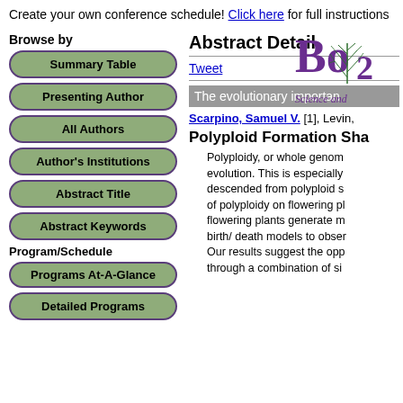Create your own conference schedule! Click here for full instructions
[Figure (logo): Botany 2013 conference logo with pine branch and purple text 'Science and...']
Browse by
Summary Table
Presenting Author
All Authors
Author's Institutions
Abstract Title
Abstract Keywords
Program/Schedule
Programs At-A-Glance
Detailed Programs
Abstract Detail
Tweet
The evolutionary importan...
Scarpino, Samuel V. [1], Levin,...
Polyploid Formation Sha...
Polyploidy, or whole genom... evolution. This is especially... descended from polyploid s... of polyploidy on flowering pl... flowering plants generate m... birth/ death models to obser... Our results suggest the opp... through a combination of si...